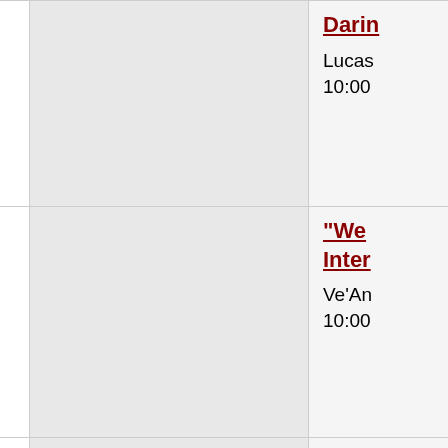| Time | Session |
| --- | --- |
|  | Darin...
Lucas...
10:00 |
|  | "We ... Inter...
Ve'An...
10:00 |
| 11:15 AM | A No...
Jay C...
11:15 |
| 1:00 PM | Natu...
Hann...
1:00 P |
|  | Put a...
Eliora...
1:00 P |